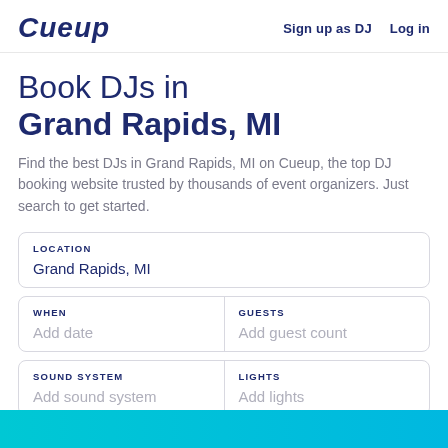CUEUP  Sign up as DJ  Log in
Book DJs in Grand Rapids, MI
Find the best DJs in Grand Rapids, MI on Cueup, the top DJ booking website trusted by thousands of event organizers. Just search to get started.
LOCATION
Grand Rapids, MI
WHEN
Add date
GUESTS
Add guest count
SOUND SYSTEM
Add sound system
LIGHTS
Add lights